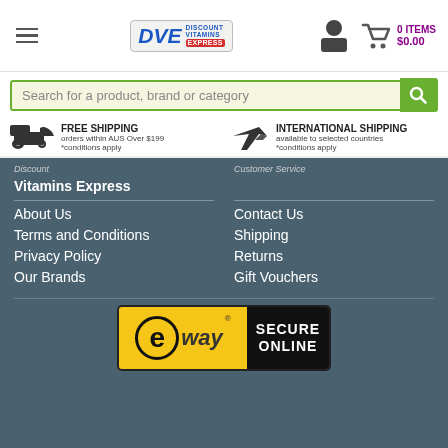[Figure (logo): DVE Discount Vitamins Express logo with hamburger menu, person icon, and cart showing 0 ITEMS $0.00]
Search for a product, brand or category
FREE SHIPPING orders within AUS Over $199 *conditions apply
INTERNATIONAL SHIPPING available to selected countries *conditions apply
Discount Vitamins Express
About Us
Terms and Conditions
Privacy Policy
Our Brands
Customer Service
Contact Us
Shipping
Returns
Gift Vouchers
[Figure (logo): eWay Secure Online payment badge — yellow left panel with eway logo, black right panel with SECURE ONLINE text]